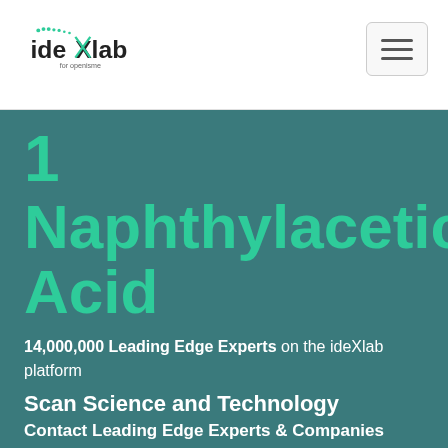ideXlab for openisme — navigation header with menu button
1 Naphthylacetic Acid
14,000,000 Leading Edge Experts on the ideXlab platform
Scan Science and Technology
Contact Leading Edge Experts & Companies
Explore this topic    Find Experts